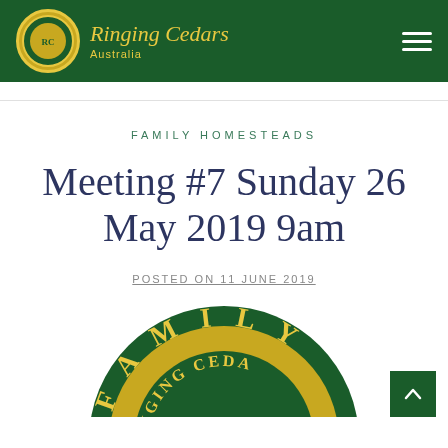Ringing Cedars Australia
FAMILY HOMESTEADS
Meeting #7 Sunday 26 May 2019 9am
POSTED ON 11 JUNE 2019
[Figure (logo): Ringing Cedars circular logo with green background and yellow text reading FAMILY HOMESTEADS and RINGING CEDARS, partially cropped at bottom of page]